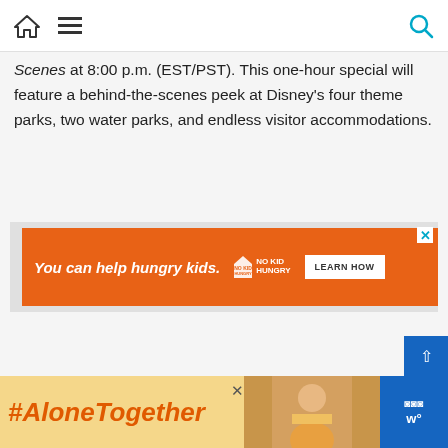Navigation bar with home icon, hamburger menu, and search icon
Scenes at 8:00 p.m. (EST/PST). This one-hour special will feature a behind-the-scenes peek at Disney's four theme parks, two water parks, and endless visitor accommodations.
[Figure (infographic): Orange advertisement banner: 'You can help hungry kids.' with No Kid Hungry logo and 'LEARN HOW' button. X close button in top right corner.]
[Figure (infographic): Bottom banner advertisement for #AloneTogether campaign with yellow/orange background, person photo, and weather widget showing 'w°']